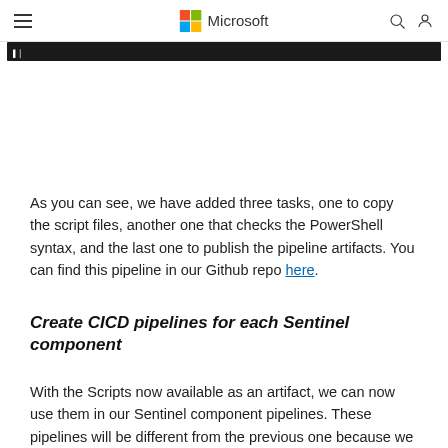Microsoft
[Figure (screenshot): Dark black bar showing partial code or pipeline content]
As you can see, we have added three tasks, one to copy the script files, another one that checks the PowerShell syntax, and the last one to publish the pipeline artifacts. You can find this pipeline in our Github repo here.
Create CICD pipelines for each Sentinel component
With the Scripts now available as an artifact, we can now use them in our Sentinel component pipelines. These pipelines will be different from the previous one because we will do CI and